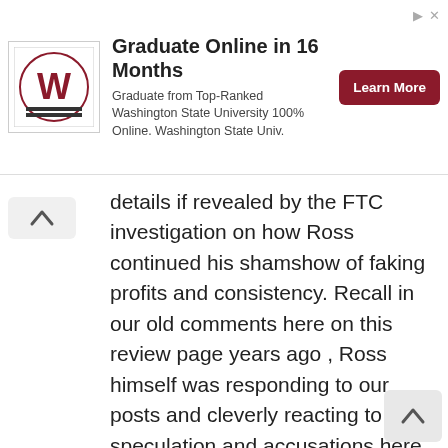[Figure (other): Advertisement banner for Washington State University Online. Shows WSU logo on left, text 'Graduate Online in 16 Months' with subtitle 'Graduate from Top-Ranked Washington State University 100% Online. Washington State Univ.' and a dark red 'Learn More' button on the right.]
details if revealed by the FTC investigation on how Ross continued his shamshow of faking profits and consistency. Recall in our old comments here on this review page years ago , Ross himself was responding to our posts and cleverly reacting to speculation and accusations here. First, way back, he only did a stupid spreadsheet table printout on his “results” site of like making $100k+ back in 2013,14. Then after our comments, he started “resetting” his account to 25-30k only or something like that and reporting month by month profits, pretending he was taking out funds to